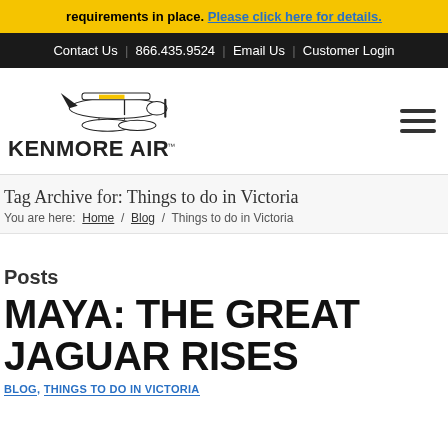requirements in place. Please click here for details.
Contact Us | 866.435.9524 | Email Us | Customer Login
[Figure (logo): Kenmore Air logo with seaplane illustration and text KENMORE AIR]
Tag Archive for: Things to do in Victoria
You are here: Home / Blog / Things to do in Victoria
Posts
MAYA: THE GREAT JAGUAR RISES
BLOG, THINGS TO DO IN VICTORIA